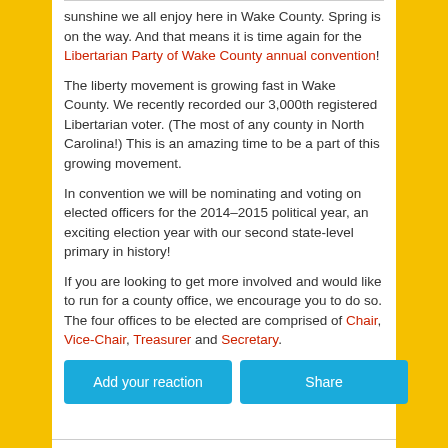sunshine we all enjoy here in Wake County. Spring is on the way. And that means it is time again for the Libertarian Party of Wake County annual convention!
The liberty movement is growing fast in Wake County. We recently recorded our 3,000th registered Libertarian voter. (The most of any county in North Carolina!) This is an amazing time to be a part of this growing movement.
In convention we will be nominating and voting on elected officers for the 2014–2015 political year, an exciting election year with our second state-level primary in history!
If you are looking to get more involved and would like to run for a county office, we encourage you to do so. The four offices to be elected are comprised of Chair, Vice-Chair, Treasurer and Secretary.
Add your reaction
Share